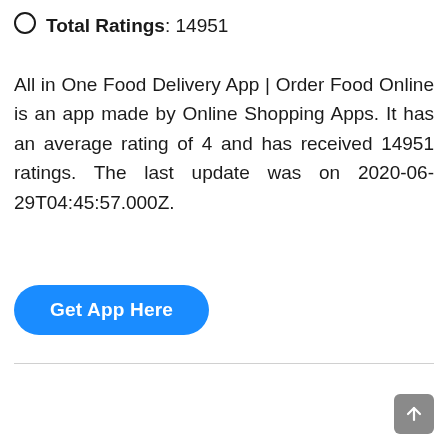Total Ratings: 14951
All in One Food Delivery App | Order Food Online is an app made by Online Shopping Apps. It has an average rating of 4 and has received 14951 ratings. The last update was on 2020-06-29T04:45:57.000Z.
[Figure (other): Blue rounded button labeled 'Get App Here']